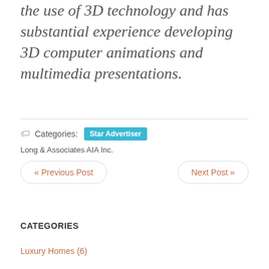the use of 3D technology and has substantial experience developing 3D computer animations and multimedia presentations.
Categories: Star Advertiser
Long & Associates AIA Inc.
« Previous Post
Next Post »
CATEGORIES
Luxury Homes (6)